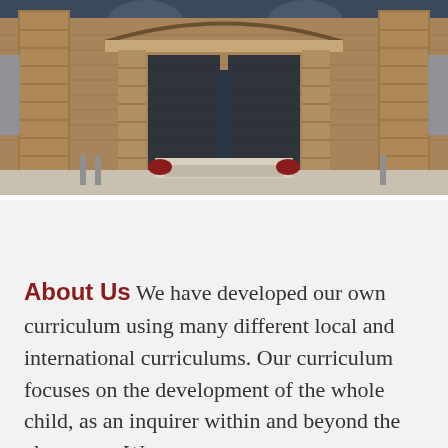[Figure (photo): Exterior photo of a school building with brick columns and arched entrance, glass double doors, and a covered portico. Red flower pots visible near the entrance.]
About Us We have developed our own curriculum using many different local and international curriculums. Our curriculum focuses on the development of the whole child, as an inquirer within and beyond the classroom. We...